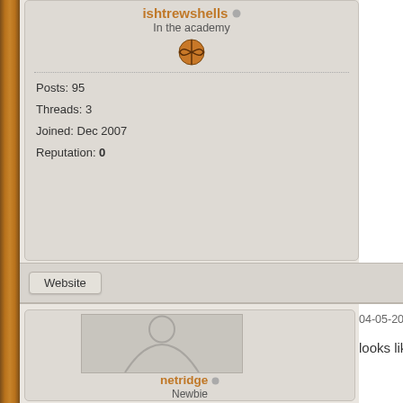ishtrewshells
In the academy
Posts: 95
Threads: 3
Joined: Dec 2007
Reputation: 0
Website
04-05-2008, 07:18 PM
looks like a fake, looks more like the des
[Figure (photo): Default user avatar silhouette placeholder image]
netridge
Newbie
Posts: 8
Threads: 0
Joined: Apr 2008
Reputation: 0